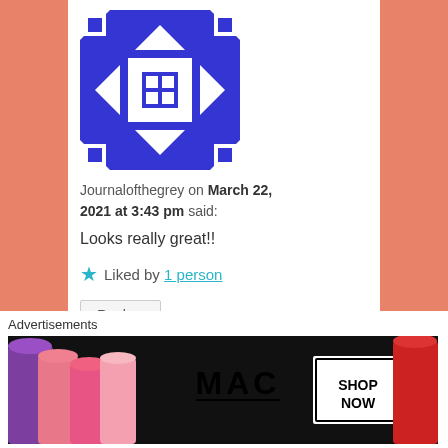[Figure (illustration): Blue and white quilt-pattern avatar for Journalofthegrey]
Journalofthegrey on March 22, 2021 at 3:43 pm said:
Looks really great!!
Liked by 1 person
Reply ↓
[Figure (photo): Small avatar photo of danielleridgway - woman with child]
danielleridgway on March 28, 2021 at 5:12 am said:
Advertisements
[Figure (screenshot): MAC cosmetics advertisement banner showing lipsticks in purple, pink, and red colors with SHOP NOW button]